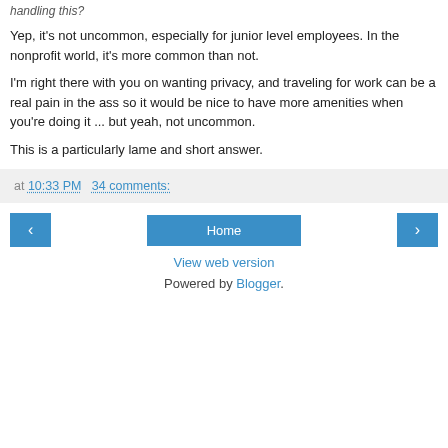handling this?
Yep, it's not uncommon, especially for junior level employees. In the nonprofit world, it's more common than not.
I'm right there with you on wanting privacy, and traveling for work can be a real pain in the ass so it would be nice to have more amenities when you're doing it ... but yeah, not uncommon.
This is a particularly lame and short answer.
at 10:33 PM  34 comments:
Home
View web version
Powered by Blogger.